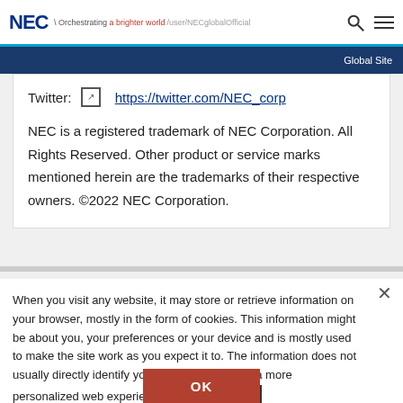NEC — Orchestrating a brighter world | /user/NECglobalOfficial | Global Site
Twitter: https://twitter.com/NEC_corp
NEC is a registered trademark of NEC Corporation. All Rights Reserved. Other product or service marks mentioned herein are the trademarks of their respective owners. ©2022 NEC Corporation.
When you visit any website, it may store or retrieve information on your browser, mostly in the form of cookies. This information might be about you, your preferences or your device and is mostly used to make the site work as you expect it to. The information does not usually directly identify you, but it can give you a more personalized web experience. Cookie Policy
OK